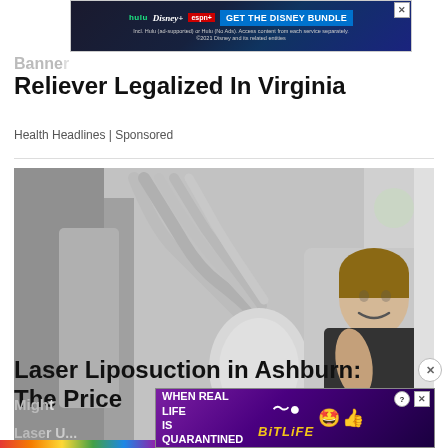[Figure (screenshot): Disney Bundle banner advertisement showing Hulu, Disney+, ESPN+ logos with 'GET THE DISNEY BUNDLE' button and fine print about ad-supported access]
Reliever Legalized In Virginia
Health Headlines | Sponsored
[Figure (photo): Woman smiling and lying down while receiving a body contouring/laser liposuction treatment with multiple applicator tubes attached to a large medical machine in a clinic setting]
Laser Liposuction in Ashburn: The Price Might
Laser U...
[Figure (screenshot): BitLife mobile game advertisement with text 'WHEN REAL LIFE IS QUARANTINED' and BitLife logo with emoji characters]